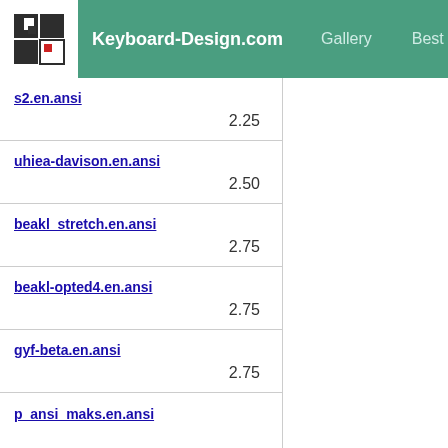Keyboard-Design.com | Gallery | Best layouts | Too
s2.en.ansi
2.25
uhiea-davison.en.ansi
2.50
beakl_stretch.en.ansi
2.75
beakl-opted4.en.ansi
2.75
gyf-beta.en.ansi
2.75
p_ansi_maks.en.ansi